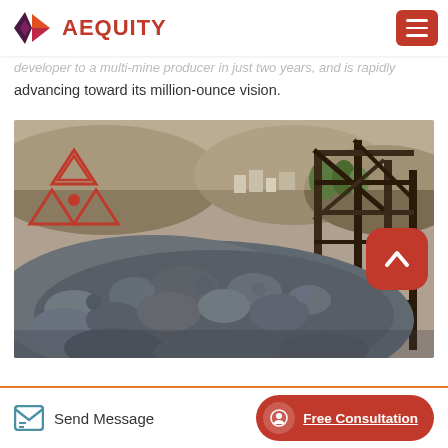Equinox Gold is a Canadian mining company with six producing gold mines, a multi-million ounce gold reserve base and a strong
AEQUITY
developer to a multi-mine producer in just two years, and is rapidly advancing toward its million-ounce vision.
[Figure (photo): Mining site photograph showing a large pile of rocks/ore with wooden mining structures in the background and hills beyond]
Send Message   Free Consultation